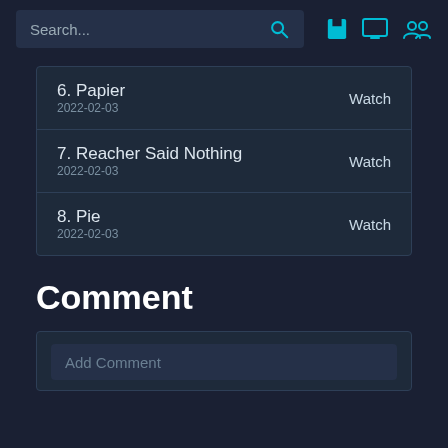Search...
6. Papier
2022-02-03
Watch
7. Reacher Said Nothing
2022-02-03
Watch
8. Pie
2022-02-03
Watch
Comment
Add Comment